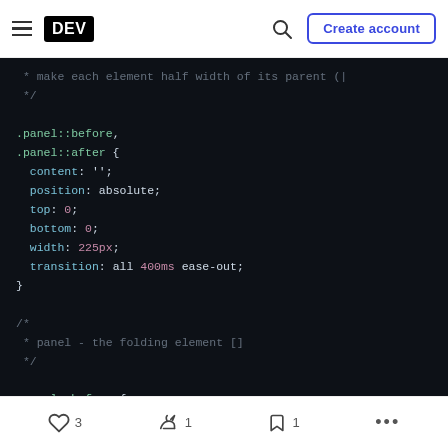DEV | Create account
[Figure (screenshot): Code editor screenshot showing CSS for .panel::before and .panel::after selectors with properties: content, position, top, bottom, width, transition. Also shows a comment block 'panel - the folding element []' and .panel::before { at the bottom.]
3 likes, 1 unicorn, 1 bookmark, more options